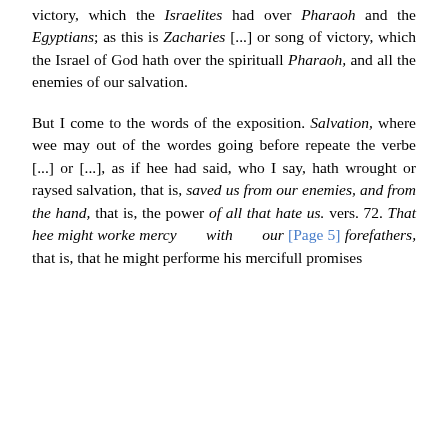victory, which the Israelites had over Pharaoh and the Egyptians; as this is Zacharies [...] or song of victory, which the Israel of God hath over the spirituall Pharaoh, and all the enemies of our salvation.
But I come to the words of the exposition. Salvation, where wee may out of the wordes going before repeate the verbe [...] or [...], as if hee had said, who I say, hath wrought or raysed salvation, that is, saved us from our enemies, and from the hand, that is, the power of all that hate us. vers. 72. That hee might worke mercy with our [Page 5] forefathers, that is, that he might performe his mercifull promises